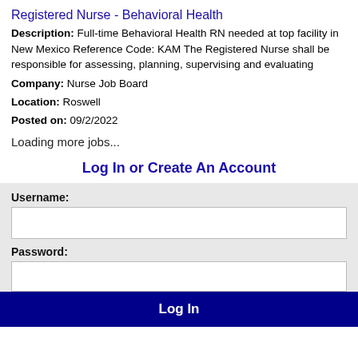Registered Nurse - Behavioral Health
Description: Full-time Behavioral Health RN needed at top facility in New Mexico Reference Code: KAM The Registered Nurse shall be responsible for assessing, planning, supervising and evaluating
Company: Nurse Job Board
Location: Roswell
Posted on: 09/2/2022
Loading more jobs...
Log In or Create An Account
Username:
Password:
Log In
This website uses cookies to ensure you get the best experience on our website. Learn more Got it!